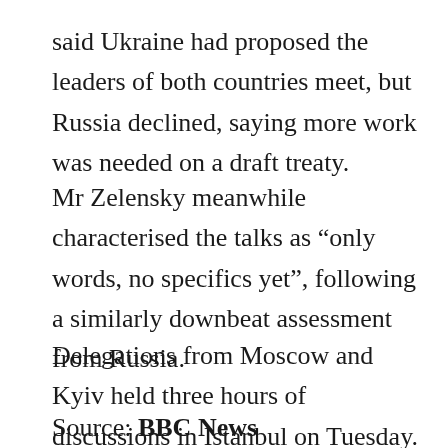said Ukraine had proposed the leaders of both countries meet, but Russia declined, saying more work was needed on a draft treaty.
Mr Zelensky meanwhile characterised the talks as “only words, no specifics yet”, following a similarly downbeat assessment from Russia.
Delegations from Moscow and Kyiv held three hours of discussions in Istanbul on Tuesday. Ukraine said it had proposed to become a neutral state in exchange for security guarantees.
Source: BBC News